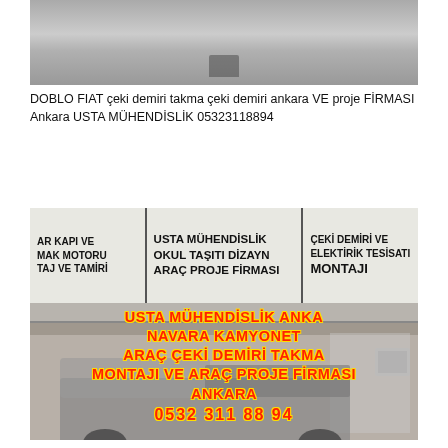[Figure (photo): Top photo showing a paved/tiled outdoor ground surface in grayscale]
DOBLO FIAT çeki demiri takma çeki demiri ankara VE proje FİRMASI Ankara USTA MÜHENDİSLİK 05323118894
[Figure (photo): Photo of a workshop/garage with a sign banner reading USTA MÜHENDİSLİK OKUL TAŞITI DİZAYN ARAÇ PROJE FİRMASI and ÇEKİ DEMİRİ ve ELEKTİRİK TESİSATI MONTAJI, and a Navara truck parked inside. Red text overlay reads: USTA MÜHENDİSLİK ANKA NAVARA KAMYONET ARAÇ ÇEKİ DEMİRİ TAKMA MONTAJI VE ARAÇ PROJE FİRMASI ANKARA 0532 311 88 94]